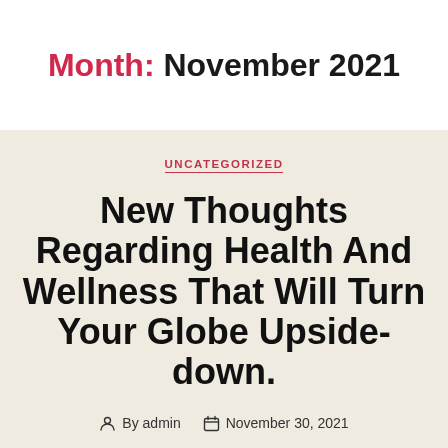Month: November 2021
UNCATEGORIZED
New Thoughts Regarding Health And Wellness That Will Turn Your Globe Upside-down.
By admin   November 30, 2021